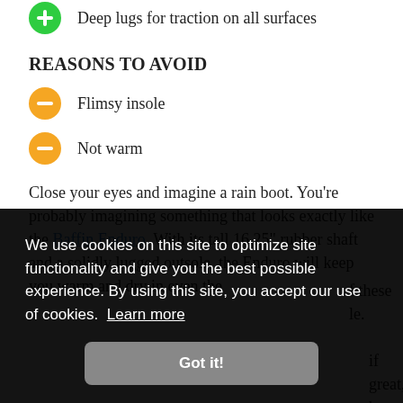Deep lugs for traction on all surfaces
REASONS TO AVOID
Flimsy insole
Not warm
Close your eyes and imagine a rain boot. You're probably imagining something that looks exactly like the Baffin Enduro. With its tall 16.25" rubber shaft and a solidly lugged outsole, the Enduro will keep you warm and dry in even the
We use cookies on this site to optimize site functionality and give you the best possible experience. By using this site, you accept our use of cookies. Learn more
Got it!